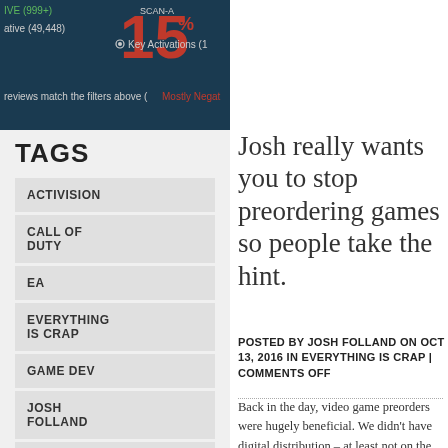[Figure (screenshot): Steam review screenshot showing rating number 15 in red, negative reviews count 49,448, Key Activations filter, and 'reviews match the filters above (Mostly Negat...' text]
TAGS
ACTIVISION
CALL OF DUTY
EA
EVERYTHING IS CRAP
GAME DEV
JOSH FOLLAND
MAFIA 3
Josh really wants you to stop preordering games so people take the hint.
POSTED BY JOSH FOLLAND ON OCT 13, 2016 IN EVERYTHING IS CRAP | COMMENTS OFF
Back in the day, video game preorders were hugely beneficial. We didn't have digital distribution – at least not on the scale we've come to love and hate. A preorder meant you went to your local EB Games, Gamestop, Future Shop or $preferred_local_retailer, they'd reserve a copy of the physical copy of the game for you so you'd be guaranteed to play it as soon as possible.